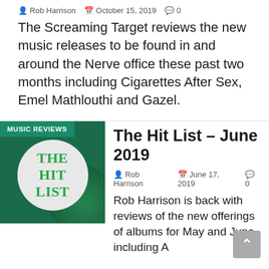Rob Harrison  October 15, 2019  0
The Screaming Target reviews the new music releases to be found in and around the Nerve office these past two months including Cigarettes After Sex, Emel Mathlouthi and Gazel.
[Figure (illustration): Thumbnail image with dark green background, white circle in center containing bold green text 'THE HIT LIST', and a teal banner reading 'MUSIC REVIEWS' in the top-left corner.]
The Hit List – June 2019
Rob Harrison  June 17, 2019  0
Rob Harrison is back with reviews of the new offerings of albums for May and June including A